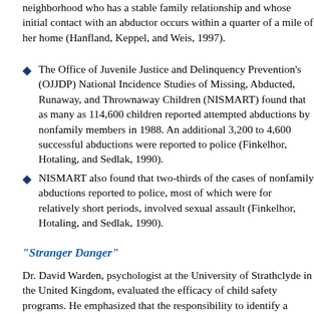neighborhood who has a stable family relationship and whose initial contact with an abductor occurs within a quarter of a mile of her home (Hanfland, Keppel, and Weis, 1997).
The Office of Juvenile Justice and Delinquency Prevention's (OJJDP) National Incidence Studies of Missing, Abducted, Runaway, and Thrownaway Children (NISMART) found that as many as 114,600 children reported attempted abductions by nonfamily members in 1988. An additional 3,200 to 4,600 successful abductions were reported to police (Finkelhor, Hotaling, and Sedlak, 1990).
NISMART also found that two-thirds of the cases of nonfamily abductions reported to police, most of which were for relatively short periods, involved sexual assault (Finkelhor, Hotaling, and Sedlak, 1990).
"Stranger Danger"
Dr. David Warden, psychologist at the University of Strathclyde in the United Kingdom, evaluated the efficacy of child safety programs. He emphasized that the responsibility to identify a potential assailant cannot be left to the child alone (Kent, 1990):
No matter how intelligent the child, he or she does not see the world through skeptical adult eyes . . . Children live very much in the present. They can't foresee someone's actions or judge their intentions, certainly not at primary school age. They have a very weak understanding of motives, they simply ...